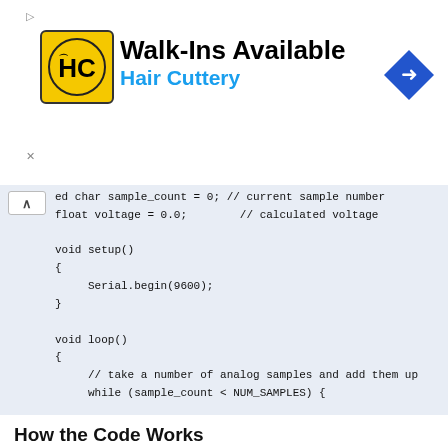[Figure (other): Hair Cuttery advertisement banner with logo, 'Walk-Ins Available' text, and a navigation arrow icon]
ed char sample_count = 0; // current sample number
float voltage = 0.0;        // calculated voltage

void setup()
{
     Serial.begin(9600);
}

void loop()
{
     // take a number of analog samples and add them up
     while (sample_count < NUM_SAMPLES) {
How the Code Works
Ten analog samples are taken using the following code:
while (sample_count < NUM_SAMPLES) {